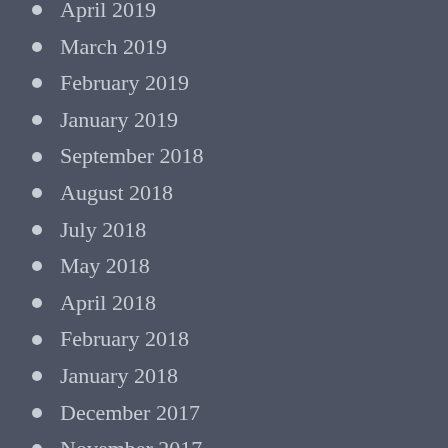April 2019
March 2019
February 2019
January 2019
September 2018
August 2018
July 2018
May 2018
April 2018
February 2018
January 2018
December 2017
November 2017
October 2017
September 2017
August 2017